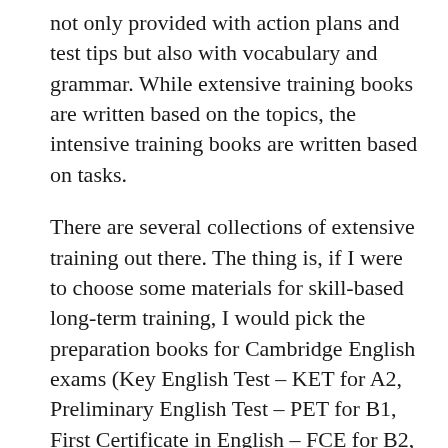not only provided with action plans and test tips but also with vocabulary and grammar. While extensive training books are written based on the topics, the intensive training books are written based on tasks.
There are several collections of extensive training out there. The thing is, if I were to choose some materials for skill-based long-term training, I would pick the preparation books for Cambridge English exams (Key English Test – KET for A2, Preliminary English Test – PET for B1, First Certificate in English – FCE for B2, Certificate of Advanced English – CAE for C1, and Certificate of Proficiency in English – CPE for C2), other than IELTS.
But anyway, we are reviewing the IELTS materials, so let's examine some relevant names for the present.